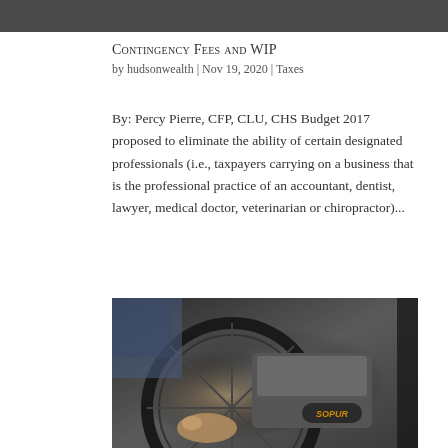[Figure (photo): Dark banner image at top of page]
Contingency Fees and WIP
by hudsonwealth | Nov 19, 2020 | Taxes
By: Percy Pierre, CFP, CLU, CHS Budget 2017 proposed to eliminate the ability of certain designated professionals (i.e., taxpayers carrying on a business that is the professional practice of an accountant, dentist, lawyer, medical doctor, veterinarian or chiropractor)...
[Figure (photo): Close-up photograph of a person's hand on a wheelchair wheel, with SOPUR branding visible on the wheelchair]